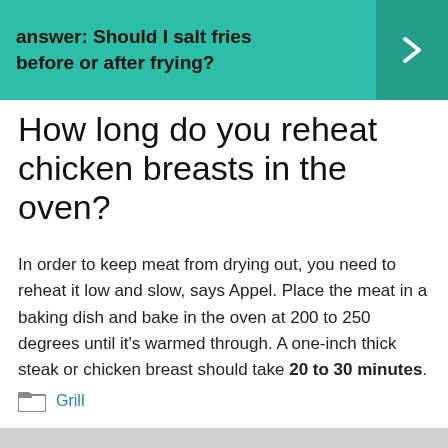answer: Should I salt fries before or after frying?
How long do you reheat chicken breasts in the oven?
In order to keep meat from drying out, you need to reheat it low and slow, says Appel. Place the meat in a baking dish and bake in the oven at 200 to 250 degrees until it's warmed through. A one-inch thick steak or chicken breast should take 20 to 30 minutes.
Grill